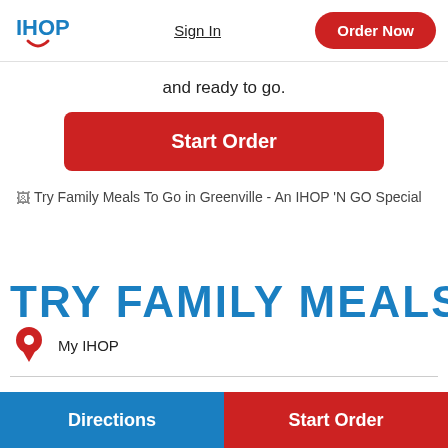IHOP | Sign In | Order Now
and ready to go.
[Figure (other): Red 'Start Order' button]
[Figure (other): Broken image: Try Family Meals To Go in Greenville - An IHOP 'N GO Special]
TRY FAMILY MEALS TO GO
My IHOP
Directions | Start Order